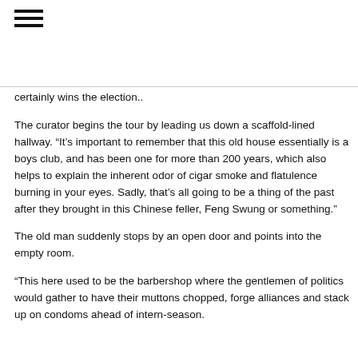☰
certainly wins the election..
The curator begins the tour by leading us down a scaffold-lined hallway. “It’s important to remember that this old house essentially is a boys club, and has been one for more than 200 years, which also helps to explain the inherent odor of cigar smoke and flatulence burning in your eyes. Sadly, that’s all going to be a thing of the past after they brought in this Chinese feller, Feng Swung or something.”
The old man suddenly stops by an open door and points into the empty room.
“This here used to be the barbershop where the gentlemen of politics would gather to have their muttons chopped, forge alliances and stack up on condoms ahead of intern-season.